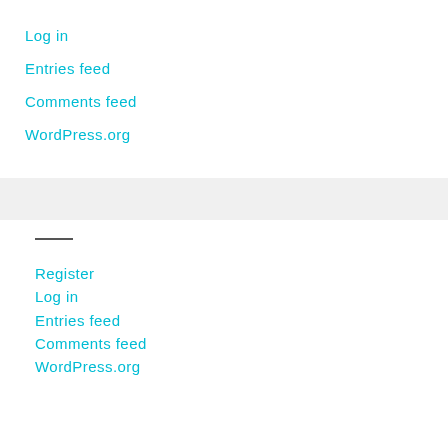Log in
Entries feed
Comments feed
WordPress.org
Register
Log in
Entries feed
Comments feed
WordPress.org
Contact